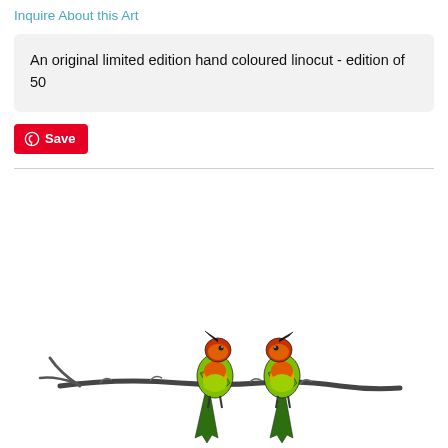Inquire About this Art
An original limited edition hand coloured linocut - edition of 50
Save
[Figure (illustration): Two colourful bee-eater birds with red, orange, yellow and green plumage perched on a bare branch, rendered in a linocut style on white background]